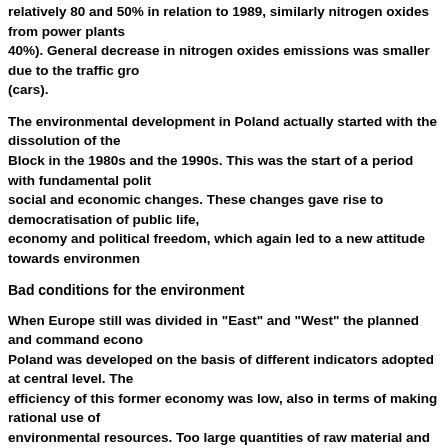relatively 80 and 50% in relation to 1989, similarly nitrogen oxides from power plants (40%). General decrease in nitrogen oxides emissions was smaller due to the traffic gro (cars).
The environmental development in Poland actually started with the dissolution of the Block in the 1980s and the 1990s. This was the start of a period with fundamental polit social and economic changes. These changes gave rise to democratisation of public life, economy and political freedom, which again led to a new attitude towards environmen
Bad conditions for the environment
When Europe still was divided in "East" and "West" the planned and command econo Poland was developed on the basis of different indicators adopted at central level. The efficiency of this former economy was low, also in terms of making rational use of environmental resources. Too large quantities of raw material and energy were consum no attention was paid to the amounts of waste generated. Likewise, no priority was giv environmental investment projects and if some projects nonetheless were launched the usually rather quickly go bust in the competition for resources against the heavy indus on the state of the environment were censored and deliberate obstacles reduced the opportunities for public action on environmental protection. As a result of such policy, quality of the environment deteriorated substantially, in some regions to a dramatic ex
Management policies in the coal industry clearly illustrate the absurdity of the former priorities. Coal was and has remained the main energy raw material used in Poland. I period of planned economy, the official extraction level was about 200 million tonnes; b despite this, the power generation sector industry and the population always suffered f shortage. At present, its extraction level is lower by almost a half and the energy syste